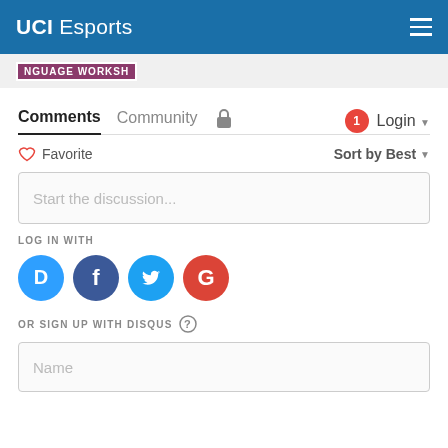UCI Esports
[Figure (screenshot): Partial banner image showing text 'NGUAGE WORKSH' on a dark background]
Comments | Community | Login
Favorite | Sort by Best
Start the discussion...
LOG IN WITH
[Figure (infographic): Social login icons: Disqus (blue), Facebook (dark blue), Twitter (light blue), Google (red)]
OR SIGN UP WITH DISQUS
Name